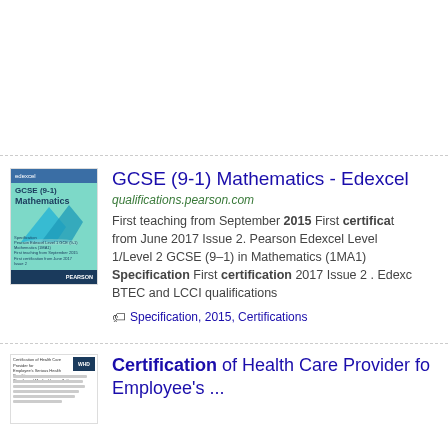[Figure (illustration): Blank white space at top of search results page]
[Figure (illustration): Book cover thumbnail: GCSE (9-1) Mathematics - Edexcel specification book with teal/turquoise background and blue geometric shapes]
GCSE (9-1) Mathematics - Edexcel
qualifications.pearson.com
First teaching from September 2015 First certification from June 2017 Issue 2. Pearson Edexcel Level 1/Level 2 GCSE (9–1) in Mathematics (1MA1) Specification First certification 2017 Issue 2 . Edexcel BTEC and LCCI qualifications
Specification, 2015, Certifications
[Figure (illustration): Document thumbnail: Certification of Health Care Provider for Employee's - US Department of Labor form]
Certification of Health Care Provider for Employee's ...